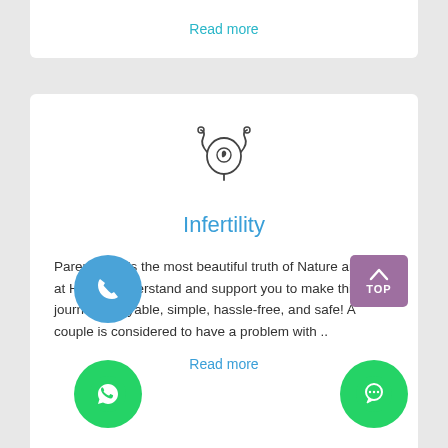Read more
[Figure (illustration): Infertility medical icon showing a stylized uterus with a fetus inside]
Infertility
Parenthood is the most beautiful truth of Nature and we at Healix, understand and support you to make this journey enjoyable, simple, hassle-free, and safe! A couple is considered to have a problem with ..
Read more